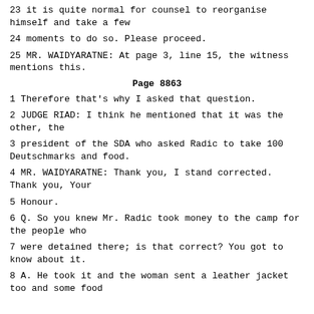23 it is quite normal for counsel to reorganise himself and take a few
24 moments to do so. Please proceed.
25 MR. WAIDYARATNE: At page 3, line 15, the witness mentions this.
Page 8863
1 Therefore that's why I asked that question.
2 JUDGE RIAD: I think he mentioned that it was the other, the
3 president of the SDA who asked Radic to take 100 Deutschmarks and food.
4 MR. WAIDYARATNE: Thank you, I stand corrected. Thank you, Your
5 Honour.
6 Q. So you knew Mr. Radic took money to the camp for the people who
7 were detained there; is that correct? You got to know about it.
8 A. He took it and the woman sent a leather jacket too and some food